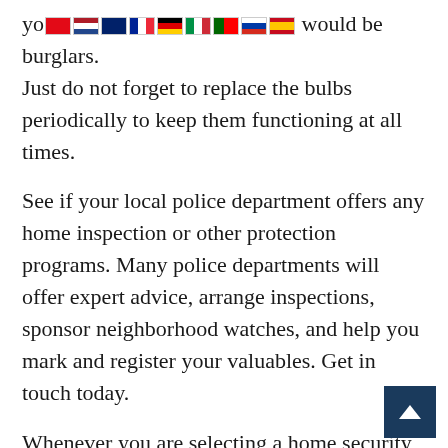you of motion and also deter would be burglars. Just do not forget to replace the bulbs periodically to keep them functioning at all times.
See if your local police department offers any home inspection or other protection programs. Many police departments will offer expert advice, arrange inspections, sponsor neighborhood watches, and help you mark and register your valuables. Get in touch today.
Whenever you are selecting a home security company, make sure you go with your gut feelings. If you are hesitant about the company, your gut feeling is especially important. Never be afraid to ask for a new installer or to get an entirely new. The point of that system is to feel safer after a